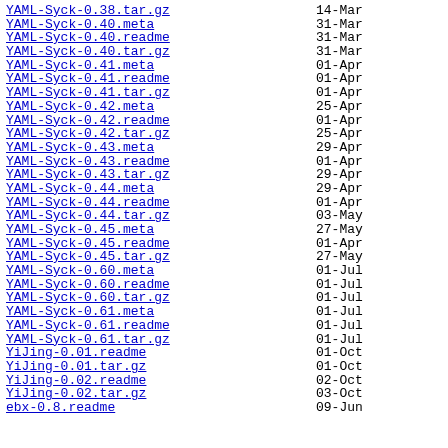YAML-Syck-0.38.tar.gz   14-Mar
YAML-Syck-0.40.meta   31-Mar
YAML-Syck-0.40.readme   31-Mar
YAML-Syck-0.40.tar.gz   31-Mar
YAML-Syck-0.41.meta   01-Apr
YAML-Syck-0.41.readme   01-Apr
YAML-Syck-0.41.tar.gz   01-Apr
YAML-Syck-0.42.meta   25-Apr
YAML-Syck-0.42.readme   01-Apr
YAML-Syck-0.42.tar.gz   25-Apr
YAML-Syck-0.43.meta   29-Apr
YAML-Syck-0.43.readme   01-Apr
YAML-Syck-0.43.tar.gz   29-Apr
YAML-Syck-0.44.meta   29-Apr
YAML-Syck-0.44.readme   01-Apr
YAML-Syck-0.44.tar.gz   03-May
YAML-Syck-0.45.meta   27-May
YAML-Syck-0.45.readme   01-Apr
YAML-Syck-0.45.tar.gz   27-May
YAML-Syck-0.60.meta   01-Jul
YAML-Syck-0.60.readme   01-Jul
YAML-Syck-0.60.tar.gz   01-Jul
YAML-Syck-0.61.meta   01-Jul
YAML-Syck-0.61.readme   01-Jul
YAML-Syck-0.61.tar.gz   01-Jul
YiJing-0.01.readme   01-Oct
YiJing-0.01.tar.gz   01-Oct
YiJing-0.02.readme   02-Oct
YiJing-0.02.tar.gz   03-Oct
ebx-0.8.readme   09-Jun